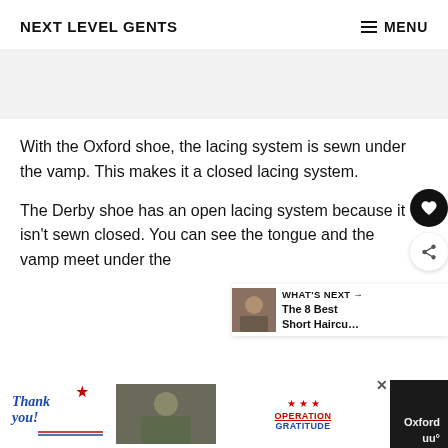NEXT LEVEL GENTS    ≡ MENU
With the Oxford shoe, the lacing system is sewn under the vamp. This makes it a closed lacing system.
The Derby shoe has an open lacing system because it isn't sewn closed. You can see the tongue and the vamp meet under the
[Figure (screenshot): What's Next panel showing thumbnail and text 'The 8 Best Short Haircu...']
[Figure (photo): Advertisement banner: Thank you Operation Gratitude military appreciation ad with close button]